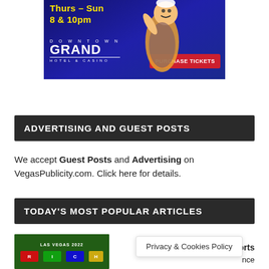[Figure (illustration): Advertisement banner for Downtown Grand Hotel & Casino showing a cartoon character, text 'Thurs-Sun 8 & 10pm', 'DOWNTOWN GRAND HOTEL & CASINO', and a red 'PURCHASE TICKETS' button]
ADVERTISING AND GUEST POSTS
We accept Guest Posts and Advertising on VegasPublicity.com. Click here for details.
TODAY'S MOST POPULAR ARTICLES
[Figure (screenshot): Thumbnail image of Las Vegas 2022 article]
Resorts W nce
Privacy & Cookies Policy